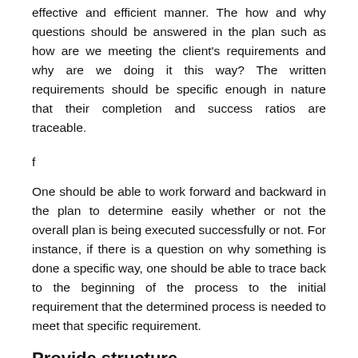effective and efficient manner. The how and why questions should be answered in the plan such as how are we meeting the client's requirements and why are we doing it this way? The written requirements should be specific enough in nature that their completion and success ratios are traceable.
f
One should be able to work forward and backward in the plan to determine easily whether or not the overall plan is being executed successfully or not. For instance, if there is a question on why something is done a specific way, one should be able to trace back to the beginning of the process to the initial requirement that the determined process is needed to meet that specific requirement.
Provide structure